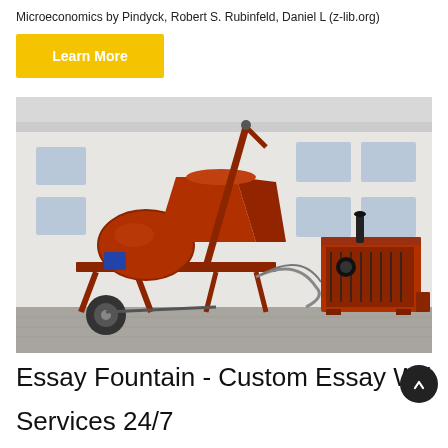Microeconomics by Pindyck, Robert S. Rubinfeld, Daniel L (z-lib.org)
Learn More
[Figure (photo): Red concrete mixer machine / industrial mixing equipment on a trailer, photographed outdoors in front of a white building. A separate red generator/power unit is visible to the right.]
Essay Fountain - Custom Essay Writing
Services 24/7